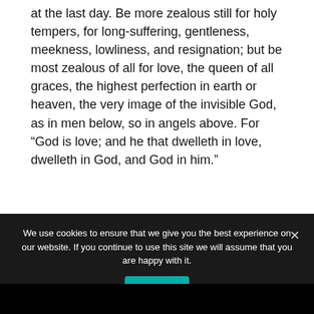at the last day. Be more zealous still for holy tempers, for long-suffering, gentleness, meekness, lowliness, and resignation; but be most zealous of all for love, the queen of all graces, the highest perfection in earth or heaven, the very image of the invisible God, as in men below, so in angels above. For “God is love; and he that dwelleth in love, dwelleth in God, and God in him.”
We use cookies to ensure that we give you the best experience on our website. If you continue to use this site we will assume that you are happy with it.